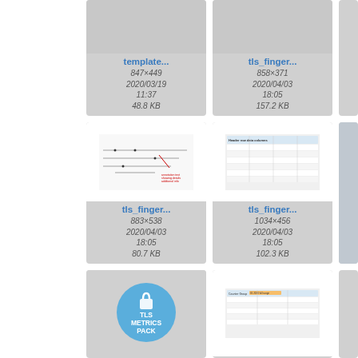[Figure (screenshot): File thumbnail grid showing document/image files. Row 1: template... (847x449, 2020/03/19 11:37, 48.8 KB), tls_finger... (858x371, 2020/04/03 18:05, 157.2 KB), partial third item. Row 2: tls_finger... with diagram preview (883x538, 2020/04/03 18:05, 80.7 KB), tls_finger... with table preview (1034x456, 2020/04/03 18:05, 102.3 KB), partial third item. Row 3: TLS Metrics Pack logo thumbnail, tls_finger... with table preview, partial third item.]